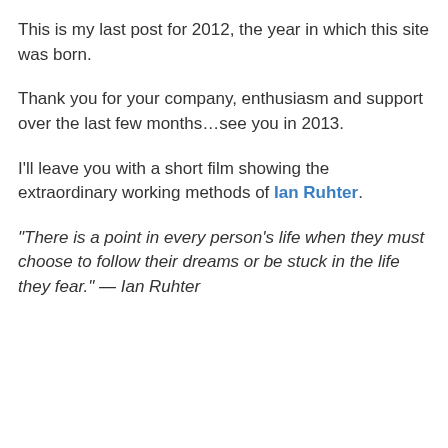This is my last post for 2012, the year in which this site was born.
Thank you for your company, enthusiasm and support over the last few months…see you in 2013.
I'll leave you with a short film showing the extraordinary working methods of Ian Ruhter.
“There is a point in every person’s life when they must choose to follow their dreams or be stuck in the life they fear.” — Ian Ruhter